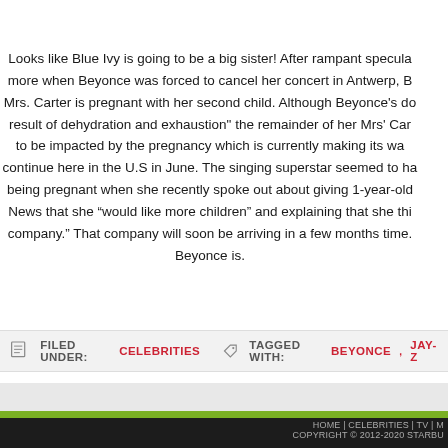Looks like Blue Ivy is going to be a big sister! After rampant specula... more when Beyonce was forced to cancel her concert in Antwerp, B... Mrs. Carter is pregnant with her second child. Although Beyonce's do... result of dehydration and exhaustion" the remainder of her Mrs' Car... to be impacted by the pregnancy which is currently making its wa... continue here in the U.S in June. The singing superstar seemed to ha... being pregnant when she recently spoke out about giving 1-year-old... News that she “would like more children” and explaining that she thi... company.” That company will soon be arriving in a few months time.... Beyonce is.
FILED UNDER: CELEBRITIES   TAGGED WITH: BEYONCE, JAY-Z
HOME | CELEBRITIES | TV | M... COPYRIGHT © 2012-2020 STARBU...